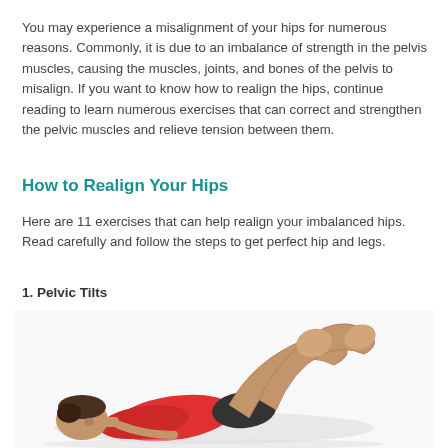You may experience a misalignment of your hips for numerous reasons. Commonly, it is due to an imbalance of strength in the pelvis muscles, causing the muscles, joints, and bones of the pelvis to misalign. If you want to know how to realign the hips, continue reading to learn numerous exercises that can correct and strengthen the pelvic muscles and relieve tension between them.
How to Realign Your Hips
Here are 11 exercises that can help realign your imbalanced hips. Read carefully and follow the steps to get perfect hip and legs.
1. Pelvic Tilts
[Figure (photo): A person lying on their back on the floor with knees bent, wearing a red shirt and dark shorts, performing a pelvic tilt exercise.]